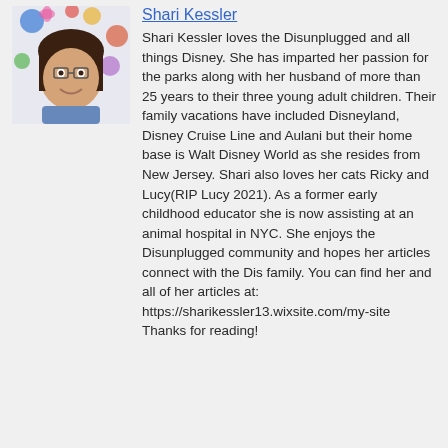[Figure (photo): Headshot photo of Shari Kessler, a woman with glasses and dark hair, smiling, in front of a colorful floral background.]
Shari Kessler
Shari Kessler loves the Disunplugged and all things Disney. She has imparted her passion for the parks along with her husband of more than 25 years to their three young adult children. Their family vacations have included Disneyland, Disney Cruise Line and Aulani but their home base is Walt Disney World as she resides from New Jersey. Shari also loves her cats Ricky and Lucy(RIP Lucy 2021). As a former early childhood educator she is now assisting at an animal hospital in NYC. She enjoys the Disunplugged community and hopes her articles connect with the Dis family. You can find her and all of her articles at: https://sharikessler13.wixsite.com/my-site Thanks for reading!